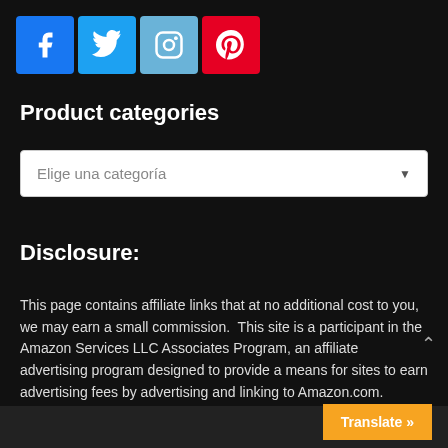[Figure (illustration): Social media icons: Facebook (blue), Twitter (light blue), Instagram (blue-grey), Pinterest (red)]
Product categories
[Figure (screenshot): Dropdown selector with placeholder text 'Elige una categoría' and a down arrow]
Disclosure:
This page contains affiliate links that at no additional cost to you, we may earn a small commission.  This site is a participant in the Amazon Services LLC Associates Program, an affiliate advertising program designed to provide a means for sites to earn advertising fees by advertising and linking to Amazon.com.
Translate »